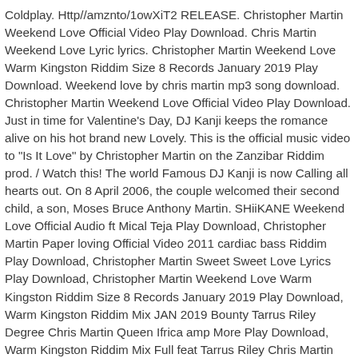Coldplay. Http//amznto/1owXiT2 RELEASE. Christopher Martin Weekend Love Official Video Play Download. Chris Martin Weekend Love Lyric lyrics. Christopher Martin Weekend Love Warm Kingston Riddim Size 8 Records January 2019 Play Download. Weekend love by chris martin mp3 song download. Christopher Martin Weekend Love Official Video Play Download. Just in time for Valentine's Day, DJ Kanji keeps the romance alive on his hot brand new Lovely. This is the official music video to "Is It Love" by Christopher Martin on the Zanzibar Riddim prod. / Watch this! The world Famous DJ Kanji is now Calling all hearts out. On 8 April 2006, the couple welcomed their second child, a son, Moses Bruce Anthony Martin. SHiiKANE Weekend Love Official Audio ft Mical Teja Play Download, Christopher Martin Paper loving Official Video 2011 cardiac bass Riddim Play Download, Christopher Martin Sweet Sweet Love Lyrics Play Download, Christopher Martin Weekend Love Warm Kingston Riddim Size 8 Records January 2019 Play Download, Warm Kingston Riddim Mix JAN 2019 Bounty Tarrus Riley Degree Chris Martin Queen Ifrica amp More Play Download, Warm Kingston Riddim Mix Full feat Tarrus Riley Chris Martin Queen Ifrica January 2019 Play Download, Let Her Go Chris Martin Lyric Play Download, Famous In Love DJ Kanji Reggae Mix 2018 Official Video